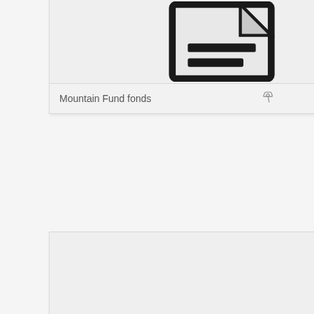[Figure (screenshot): Document card thumbnail showing a file icon with two horizontal lines, labeled 'Mountain Fund fonds' with a paperclip icon]
[Figure (screenshot): Document card thumbnail showing a file icon with three horizontal lines, labeled 'Manuscripts' with a paperclip icon]
[Figure (screenshot): Document card thumbnail showing a partial file icon, bottom cut off]